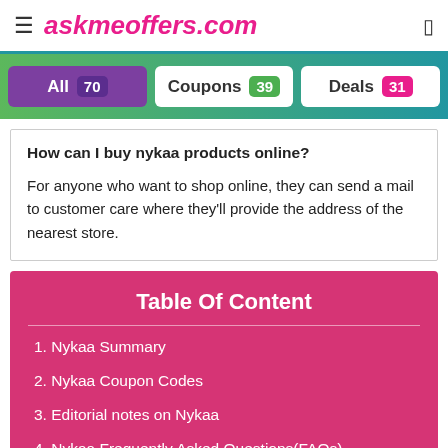askmeoffers.com
All 70   Coupons 39   Deals 31
How can I buy nykaa products online?
For anyone who want to shop online, they can send a mail to customer care where they'll provide the address of the nearest store.
Table Of Content
1. Nykaa Summary
2. Nykaa Coupon Codes
3. Editorial notes on Nykaa
4. Nykaa Frequently Asked Questions(FAQs)